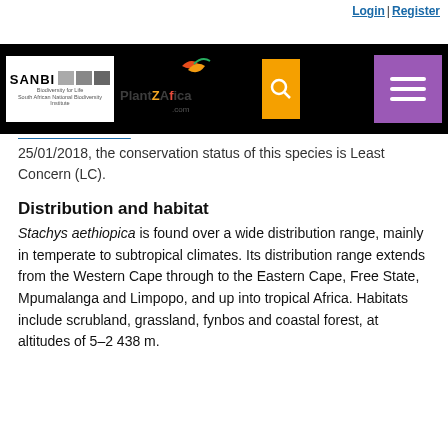Login | Register
[Figure (logo): SANBI and PlantZAfrica.com navigation bar with search and menu buttons]
25/01/2018, the conservation status of this species is Least Concern (LC).
Distribution and habitat
Stachys aethiopica is found over a wide distribution range, mainly in temperate to subtropical climates. Its distribution range extends from the Western Cape through to the Eastern Cape, Free State, Mpumalanga and Limpopo, and up into tropical Africa. Habitats include scrubland, grassland, fynbos and coastal forest, at altitudes of 5–2 438 m.